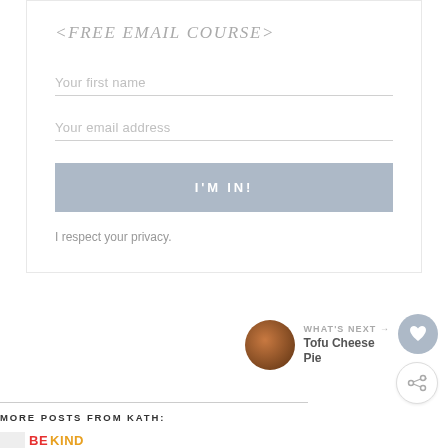<FREE EMAIL COURSE>
Your first name
Your email address
I'M IN!
I respect your privacy.
WHAT'S NEXT → Tofu Cheese Pie
MORE POSTS FROM KATH:
BE KIND